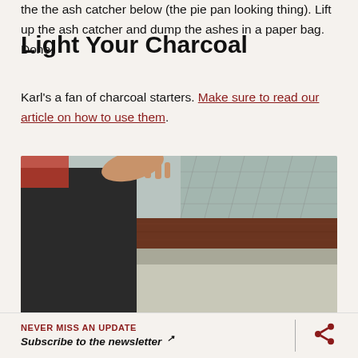the the ash catcher below (the pie pan looking thing). Lift up the ash catcher and dump the ashes in a paper bag. Done.
Light Your Charcoal
Karl's a fan of charcoal starters. Make sure to read our article on how to use them.
[Figure (photo): A person in dark shorts standing near a wooden fence or ledge, bending over a grill (black circular rim visible at bottom). Outdoor setting with concrete ground and chain-link fence in background.]
NEVER MISS AN UPDATE
Subscribe to the newsletter